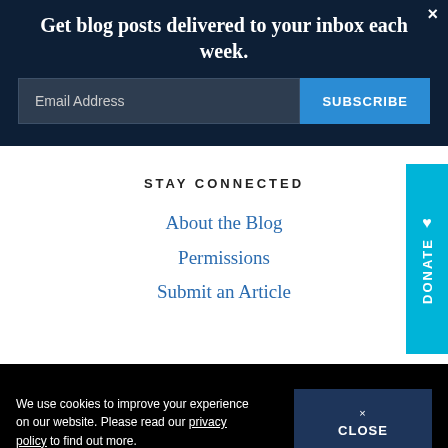Get blog posts delivered to your inbox each week.
Email Address
SUBSCRIBE
STAY CONNECTED
About the Blog
Permissions
Submit an Article
DONATE
We use cookies to improve your experience on our website. Please read our privacy policy to find out more.
× CLOSE